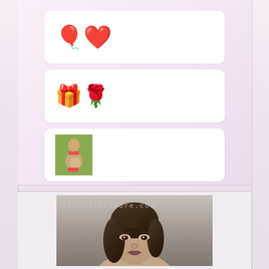[Figure (illustration): White rounded card with blue and red heart balloon emojis]
[Figure (illustration): White rounded card with gift box and roses emoji]
[Figure (illustration): White rounded card with small image of a pregnant woman]
[Figure (photo): Photo of a woman with brown hair and makeup, watermarked with circuitdelebre.com]